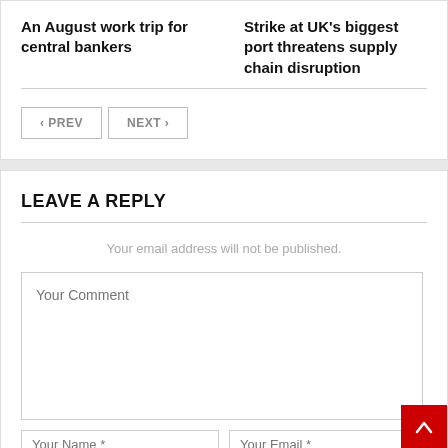An August work trip for central bankers
Strike at UK's biggest port threatens supply chain disruption
LEAVE A REPLY
Your email address will not be published.
Your Comment
Your Name *
Your Email *